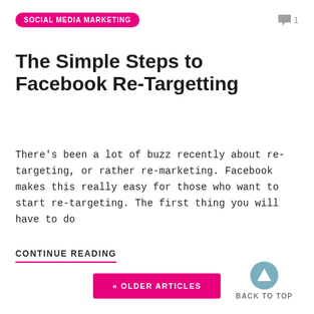SOCIAL MEDIA MARKETING
The Simple Steps to Facebook Re-Targetting
There's been a lot of buzz recently about re-targeting, or rather re-marketing. Facebook makes this really easy for those who want to start re-targeting. The first thing you will have to do
CONTINUE READING
« OLDER ARTICLES
BACK TO TOP